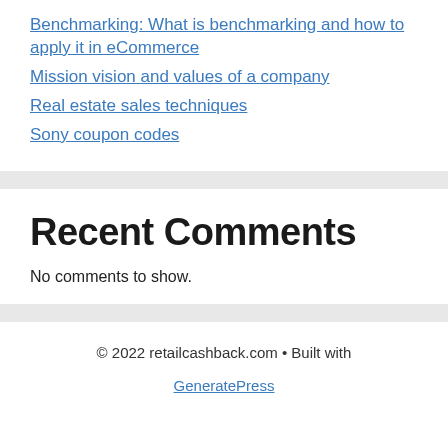Benchmarking: What is benchmarking and how to apply it in eCommerce
Mission vision and values of a company
Real estate sales techniques
Sony coupon codes
Recent Comments
No comments to show.
© 2022 retailcashback.com • Built with GeneratePress